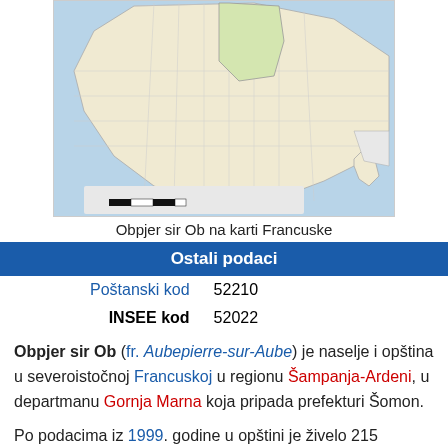[Figure (map): Map of France showing the location of Aubepierre-sur-Aube highlighted within its region, with surrounding countries and Corsica visible.]
Obpjer sir Ob na karti Francuske
| Ostali podaci |
| --- |
| Poštanski kod | 52210 |
| INSEE kod | 52022 |
Obpjer sir Ob (fr. Aubepierre-sur-Aube) je naselje i opština u severoistočnoj Francuskoj u regionu Šampanja-Ardeni, u departmanu Gornja Marna koja pripada prefekturi Šomon.
Po podacima iz 1999. godine u opštini je živelo 215 stanovnika, a gustina naseljenosti je iznosila